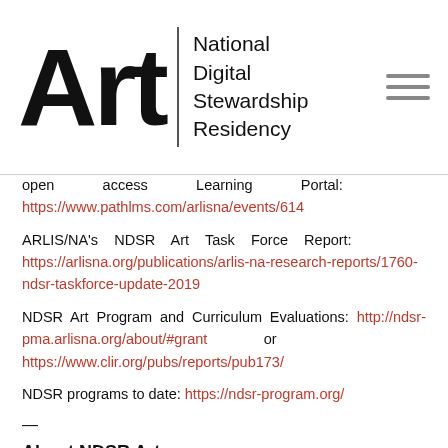[Figure (logo): Art | National Digital Stewardship Residency logo with hamburger menu icon]
open access Learning Portal: https://www.pathlms.com/arlisna/events/614
ARLIS/NA's NDSR Art Task Force Report: https://arlisna.org/publications/arlis-na-research-reports/1760-ndsr-taskforce-update-2019
NDSR Art Program and Curriculum Evaluations: http://ndsr-pma.arlisna.org/about/#grant or https://www.clir.org/pubs/reports/pub173/
NDSR programs to date: https://ndsr-program.org/
—
About NDSR Art
NDSR Art was conceived as a residency program to help art and cultural institutions tackle issues of digital stewardship. NDSR Art is an iteration of the NDSR program that began in 2013 with a pilot project developed by the Library of Congress in conjunction with the Institute of Museum and